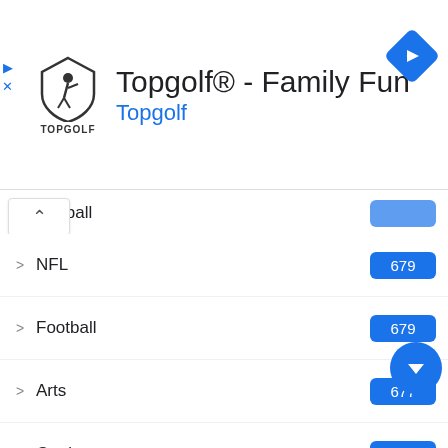[Figure (screenshot): Topgolf advertisement banner with logo, title 'Topgolf® - Family Fun', subtitle 'Topgolf', and navigation arrow icon]
NFL  679
Football  679
Arts  677
Goal  659
Soccer  606
Soccer ball  606
Volleyball  497
Basketball hoop  479
Basketball  464
Literature  263
Badminton  133